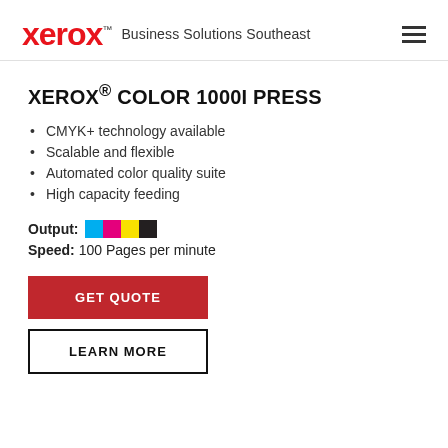xerox™ Business Solutions Southeast
XEROX® COLOR 1000I PRESS
CMYK+ technology available
Scalable and flexible
Automated color quality suite
High capacity feeding
Output: [CMYK color swatches]
Speed: 100 Pages per minute
GET QUOTE
LEARN MORE